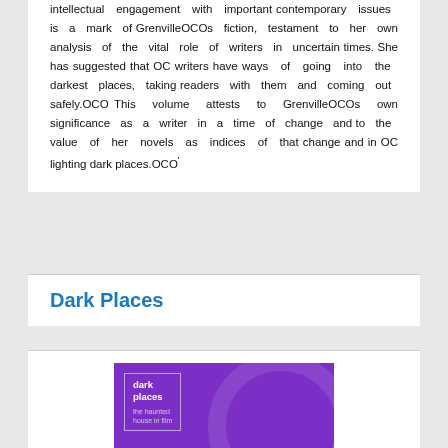intellectual engagement with important contemporary issues is a mark of GrenvilleOCOs fiction, testament to her own analysis of the vital role of writers in uncertain times. She has suggested that OC writers have ways of going into the darkest places, taking readers with them and coming out safely.OCO This volume attests to GrenvilleOCOs own significance as a writer in a time of change and to the value of her novels as indices of that change and in OC lighting dark places.OCO'
Dark Places
[Figure (photo): Book cover for 'dark places: the haunted house in film' on a purple background with decorative circle element]